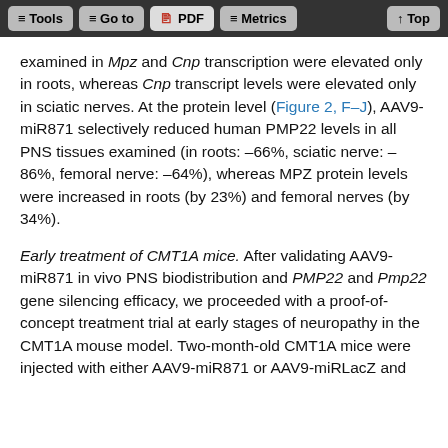Tools | Go to | PDF | Metrics | Top
examined in Mpz and Cnp transcription were elevated only in roots, whereas Cnp transcript levels were elevated only in sciatic nerves. At the protein level (Figure 2, F–J), AAV9-miR871 selectively reduced human PMP22 levels in all PNS tissues examined (in roots: –66%, sciatic nerve: –86%, femoral nerve: –64%), whereas MPZ protein levels were increased in roots (by 23%) and femoral nerves (by 34%).
Early treatment of CMT1A mice. After validating AAV9-miR871 in vivo PNS biodistribution and PMP22 and Pmp22 gene silencing efficacy, we proceeded with a proof-of-concept treatment trial at early stages of neuropathy in the CMT1A mouse model. Two-month-old CMT1A mice were injected with either AAV9-miR871 or AAV9-miRLacZ and